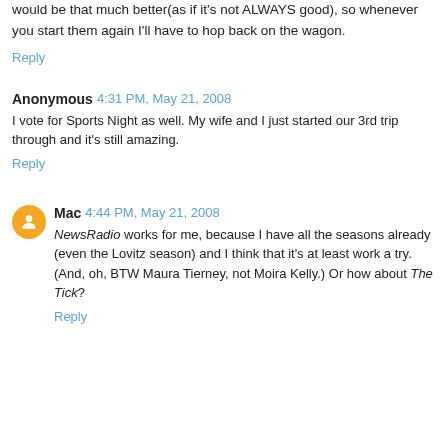would be that much better(as if it's not ALWAYS good), so whenever you start them again I'll have to hop back on the wagon.
Reply
Anonymous 4:31 PM, May 21, 2008
I vote for Sports Night as well. My wife and I just started our 3rd trip through and it's still amazing.
Reply
Mac 4:44 PM, May 21, 2008
NewsRadio works for me, because I have all the seasons already (even the Lovitz season) and I think that it's at least work a try. (And, oh, BTW Maura Tierney, not Moira Kelly.) Or how about The Tick?
Reply